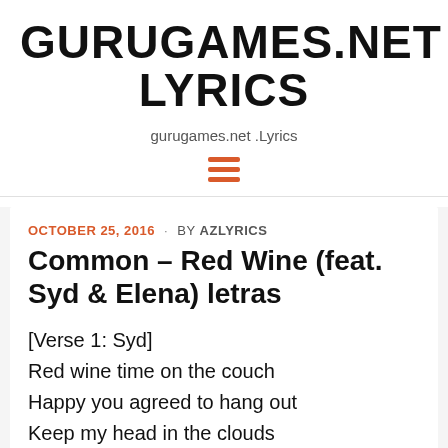GURUGAMES.NET LYRICS
gurugames.net .Lyrics
[Figure (other): Hamburger menu icon (three horizontal orange lines)]
OCTOBER 25, 2016 · BY AZLYRICS
Common – Red Wine (feat. Syd & Elena) letras
[Verse 1: Syd]
Red wine time on the couch
Happy you agreed to hang out
Keep my head in the clouds
Keep them old names out your mouth